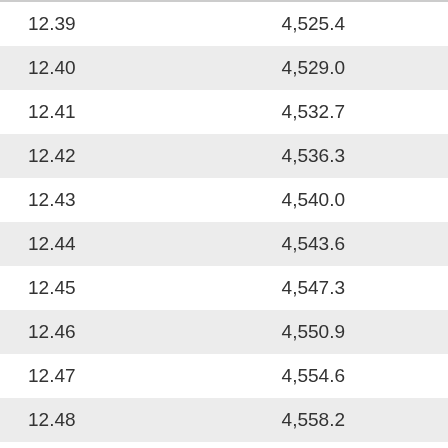| 12.39 | 4,525.4 |
| 12.40 | 4,529.0 |
| 12.41 | 4,532.7 |
| 12.42 | 4,536.3 |
| 12.43 | 4,540.0 |
| 12.44 | 4,543.6 |
| 12.45 | 4,547.3 |
| 12.46 | 4,550.9 |
| 12.47 | 4,554.6 |
| 12.48 | 4,558.2 |
| 12.49 | 4,561.9 |
| 12.50 | 4,565.5 |
| 12.51 | 4,569.2 |